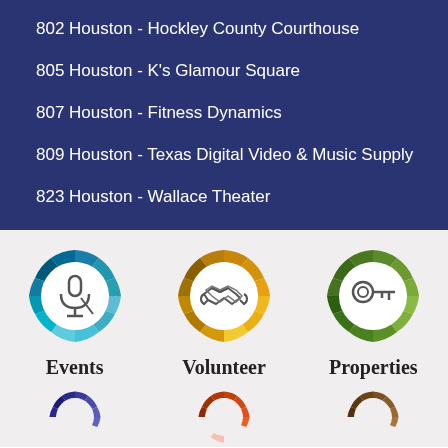802 Houston - Hockley County Courthouse
805 Houston - K's Glamour Square
807 Houston - Fitness Dynamics
809 Houston - Texas Digital Video & Music Supply
823 Houston - Wallace Theater
[Figure (infographic): Three circular mosaic-style icons: Events (blue/teal with microphone), Volunteer (gold/brown with handshake), Properties (green with key)]
[Figure (infographic): Bottom row showing partial circular mosaic icons (blue-purple, red-orange, brown) partially cut off]